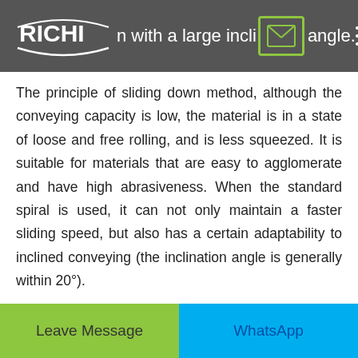tr...n with a large inclination angle.
The principle of sliding down method, although the conveying capacity is low, the material is in a state of loose and free rolling, and is less squeezed. It is suitable for materials that are easy to agglomerate and have high abrasiveness. When the standard spiral is used, it can not only maintain a faster sliding speed, but also has a certain adaptability to inclined conveying (the inclination angle is generally within 20°).
4. Maintenance of screw conveying equipment
Leave Message | WhatsApp